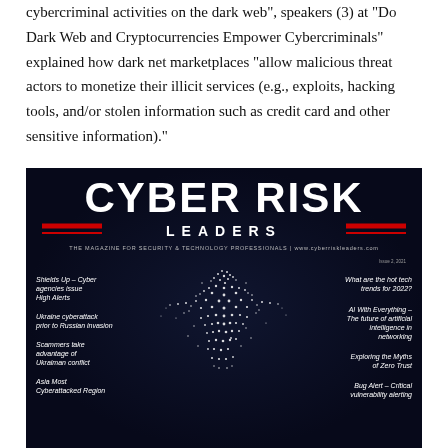cybercriminal activities on the dark web", speakers (3) at "Do Dark Web and Cryptocurrencies Empower Cybercriminals" explained how dark net marketplaces "allow malicious threat actors to monetize their illicit services (e.g., exploits, hacking tools, and/or stolen information such as credit card and other sensitive information)."
[Figure (photo): Cover of Cyber Risk Leaders magazine, Issue 2, 2021. Dark background with a glowing particle/dot art sphere in the center forming a human-like shape. Title reads CYBER RISK LEADERS in large white bold text with red striped accent. Tagline: THE MAGAZINE FOR SECURITY & TECHNOLOGY PROFESSIONALS | www.cyberriskleaders.com. Left column articles: Shields Up – Cyber agencies issue High Alerts; Ukraine cyberattack prior to Russian invasion; Scammers take advantage of Ukraiman conflict; Asia Most Cyberattacked Region. Right column articles: What are the hot tech trends for 2022?; AI With Everything – The future of artificial intelligence in networking; Exploring the Myths of Zero Trust; Bug Alert – Critical vulnerability alerting.]